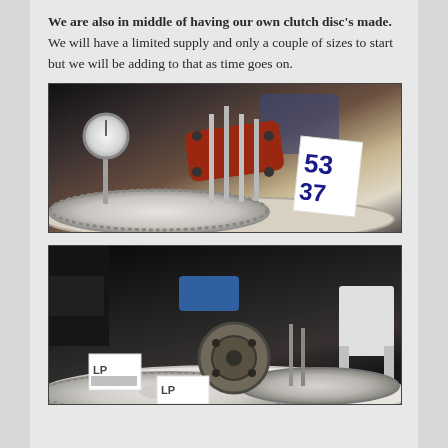We are also in middle of having our own clutch disc's made. We will have a limited supply and only a couple of sizes to start but we will be adding to that as time goes on.
[Figure (photo): Photo of automotive clutch disc components on a white display table, including a red bracket/caliper assembly with vertical rods, a dial gauge indicator, a large circular clutch disc with fine teeth, and a price tag sticker with numbers visible.]
[Figure (photo): Photo of multiple clutch disc components displayed on a white round table in a dark exhibition hall setting, including large circular discs, a hub assembly, branded white tags/cards with logos, and a folding chair visible in background.]